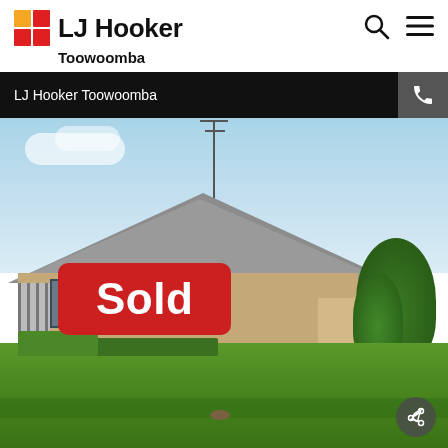[Figure (logo): LJ Hooker Toowoomba real estate agency logo with orange and red square icon]
LJ Hooker Toowoomba
[Figure (photo): Exterior photo of a sold residential brick house with tiled roof, green lawn, trees on right, and a large red 'Sold' banner overlay in the center of the image]